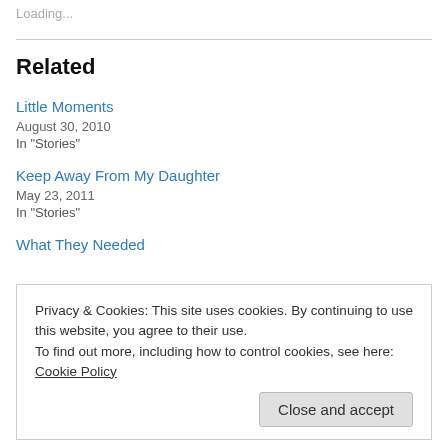Loading...
Related
Little Moments
August 30, 2010
In "Stories"
Keep Away From My Daughter
May 23, 2011
In "Stories"
What They Needed
Privacy & Cookies: This site uses cookies. By continuing to use this website, you agree to their use.
To find out more, including how to control cookies, see here: Cookie Policy
Close and accept